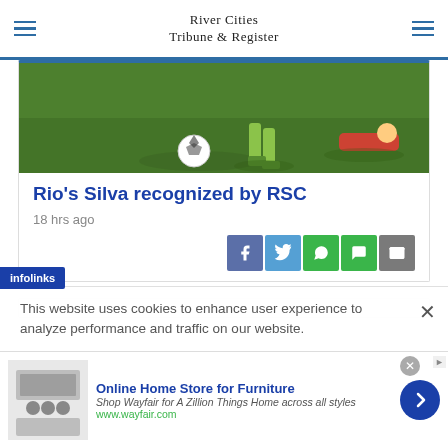River Cities Tribune & Register
[Figure (photo): Soccer match photo showing players on a green field with a ball in the foreground and players in action in the background]
Rio's Silva recognized by RSC
18 hrs ago
[Figure (infographic): Social media share buttons: Facebook, Twitter, WhatsApp, SMS/chat, Email]
This website uses cookies to enhance user experience to analyze performance and traffic on our website.
[Figure (logo): infolinks logo badge]
[Figure (infographic): Advertisement: Online Home Store for Furniture - Wayfair. Shop Wayfair for A Zillion Things Home across all styles. www.wayfair.com]